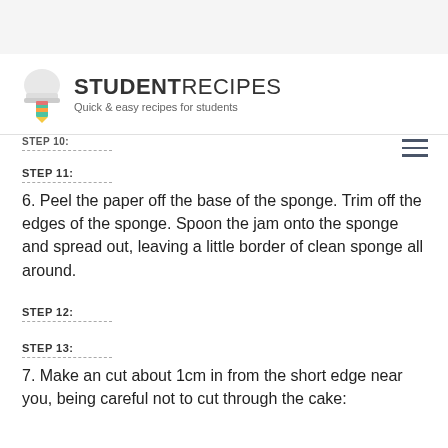STUDENTRECIPES — Quick & easy recipes for students
STEP 10:
STEP 11:
6. Peel the paper off the base of the sponge. Trim off the edges of the sponge. Spoon the jam onto the sponge and spread out, leaving a little border of clean sponge all around.
STEP 12:
STEP 13:
7. Make an cut about 1cm in from the short edge near you, being careful not to cut through the cake: